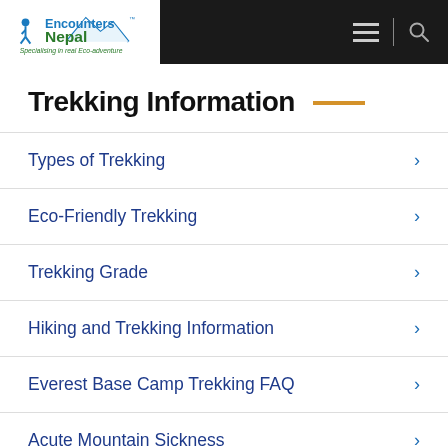Encounters Nepal — Specialising in real Eco-adventure
Trekking Information
Types of Trekking
Eco-Friendly Trekking
Trekking Grade
Hiking and Trekking Information
Everest Base Camp Trekking FAQ
Acute Mountain Sickness
Trekking Gears